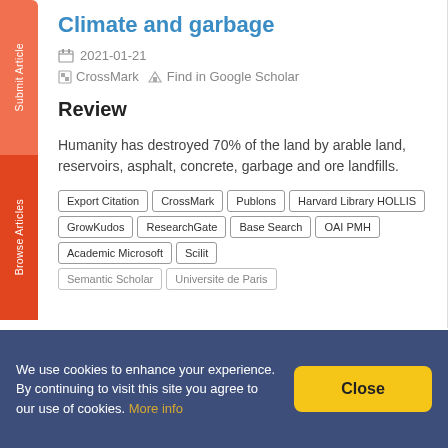Climate and garbage
2021-01-21
CrossMark  Find in Google Scholar
Review
Humanity has destroyed 70% of the land by arable land, reservoirs, asphalt, concrete, garbage and ore landfills.
Export Citation
CrossMark
Publons
Harvard Library HOLLIS
GrowKudos
ResearchGate
Base Search
OAI PMH
Academic Microsoft
Scilit
We use cookies to enhance your experience. By continuing to visit this site you agree to our use of cookies. More info